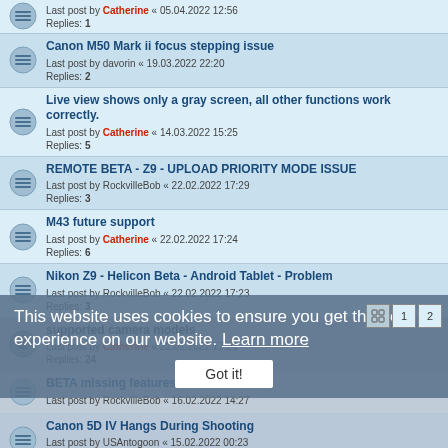Last post by Catherine « 05.04.2022 12:56 Replies: 1
Canon M50 Mark ii focus stepping issue
Last post by davorin « 19.03.2022 22:20
Replies: 2
Live view shows only a gray screen, all other functions work correctly.
Last post by Catherine « 14.03.2022 15:25
Replies: 5
REMOTE BETA - Z9 - UPLOAD PRIORITY MODE ISSUE
Last post by RockvilleBob « 22.02.2022 17:29
Replies: 3
M43 future support
Last post by Catherine « 22.02.2022 17:24
Replies: 6
Nikon Z9 - Helicon Beta - Android Tablet - Problem
Last post by RockvilleBob « 22.02.2022 17:23
Replies: 3
supported camera models
Last post by Catherine « 22.02.2022 17:21
Replies: 24
BETA missing features
Last post by RockvilleBob « 16.02.2022 14:27
Canon 5D IV Hangs During Shooting
Last post by USAntogoon « 15.02.2022 00:23
Replies: 1
Nikon d7200 via USB or CABLE issue help
This website uses cookies to ensure you get the best experience on our website. Learn more
Got it!